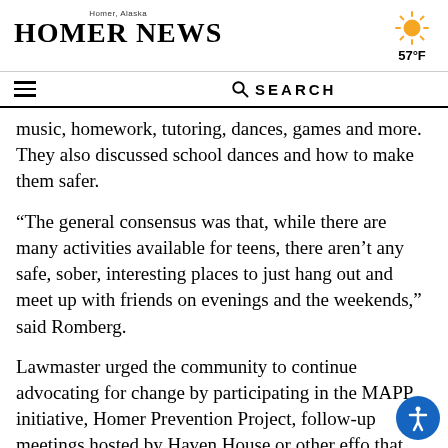Homer, Alaska — HOMER NEWS — 57°F
music, homework, tutoring, dances, games and more. They also discussed school dances and how to make them safer.
“The general consensus was that, while there are many activities available for teens, there aren’t any safe, sober, interesting places to just hang out and meet up with friends on evenings and the weekends,” said Romberg.
Lawmaster urged the community to continue advocating for change by participating in the MAPP initiative, Homer Prevention Project, follow-up meetings hosted by Haven House or other efforts that might arise as a result of recent meetings.